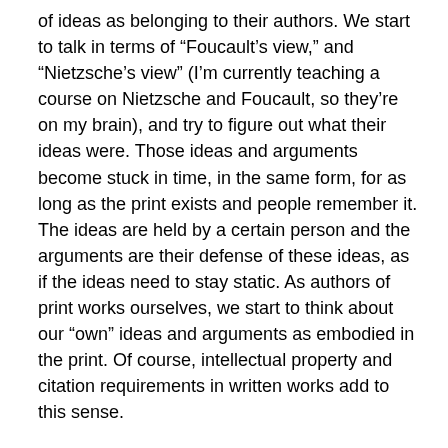of ideas as belonging to their authors. We start to talk in terms of “Foucault’s view,” and “Nietzsche’s view” (I’m currently teaching a course on Nietzsche and Foucault, so they’re on my brain), and try to figure out what their ideas were. Those ideas and arguments become stuck in time, in the same form, for as long as the print exists and people remember it. The ideas are held by a certain person and the arguments are their defense of these ideas, as if the ideas need to stay static. As authors of print works ourselves, we start to think about our “own” ideas and arguments as embodied in the print. Of course, intellectual property and citation requirements in written works add to this sense.
Another part of what I think Dave may be